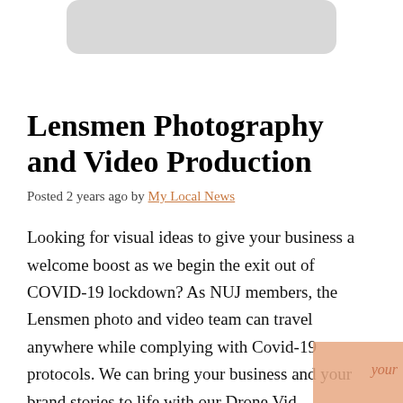[Figure (other): Partial image placeholder at top of page, shown as a rounded grey rectangle]
Lensmen Photography and Video Production
Posted 2 years ago by My Local News
Looking for visual ideas to give your business a welcome boost as we begin the exit out of COVID-19 lockdown? As NUJ members, the Lensmen photo and video team can travel anywhere while complying with Covid-19 protocols. We can bring your business and your brand stories to life with our Drone Vid...